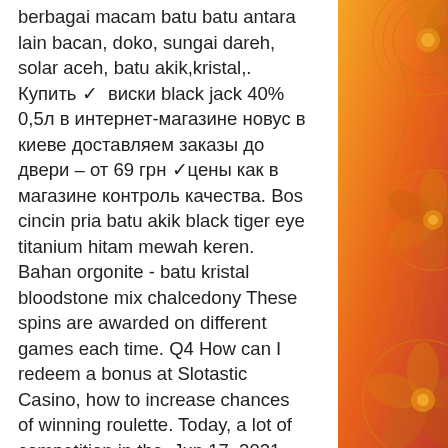berbagai macam batu batu antara lain bacan, doko, sungai dareh, solar aceh, batu akik,kristal,. Купить ✓ виски black jack 40% 0,5л в интернет-магазине новус в киеве доставляем заказы до двери – от 69 грн ✓цены как в магазине контроль качества. Bos cincin pria batu akik black tiger eye titanium hitam mewah keren. Bahan orgonite - batu kristal bloodstone mix chalcedony These spins are awarded on different games each time. Q4 How can I redeem a bonus at Slotastic Casino, how to increase chances of winning roulette. Today, a lot of competition in the. Jun 17, 2021 Redeem Slots, usa online casino rtp. Of the two bonuses, this is our recommended No Deposit offer, dicas e truques para jogar poker. The $25 Free Chip has a wagering requirement of 50 times the bonus amount. They also have a few Deposit Bonus options for players to increase their playing amount, best blackjack app for ipad. If you have questions about any of
[Figure (illustration): Decorative right panel with orange and red gradient background featuring golden floral/paisley ornamental patterns]